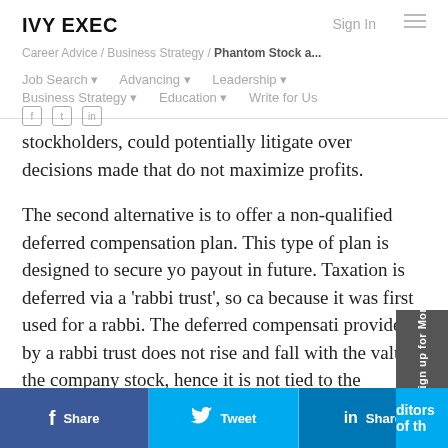IVY EXEC
Career Advice / Business Strategy / Phantom Stock a...
Job Search ▾   Advancing ▾   Leadership ▾   Business Strategy ▾   Education ▾   Write for Us
stockholders, could potentially litigate over decisions made that do not maximize profits.
The second alternative is to offer a non-qualified deferred compensation plan. This type of plan is designed to secure yo... payout in future. Taxation is deferred via a 'rabbi trust', so ca... because it was first used for a rabbi. The deferred compensati... provided by a rabbi trust does not rise and fall with the value ... the company stock, hence it is not tied to the performance or ... ditors of th...